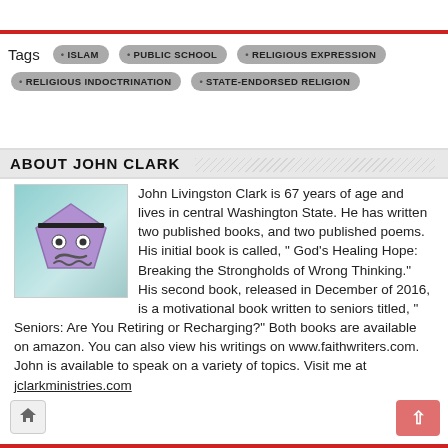Tags: ISLAM • PUBLIC SCHOOL • RELIGIOUS EXPRESSION • RELIGIOUS INDOCTRINATION • STATE-ENDORSED RELIGION
ABOUT JOHN CLARK
[Figure (illustration): Cartoon purple pentagon character with worried expression, eyes, and squiggly mouth on teal background]
John Livingston Clark is 67 years of age and lives in central Washington State. He has written two published books, and two published poems. His initial book is called, " God's Healing Hope: Breaking the Strongholds of Wrong Thinking." His second book, released in December of 2016, is a motivational book written to seniors titled, " Seniors: Are You Retiring or Recharging?" Both books are available on amazon. You can also view his writings on www.faithwriters.com. John is available to speak on a variety of topics. Visit me at jclarkministries.com